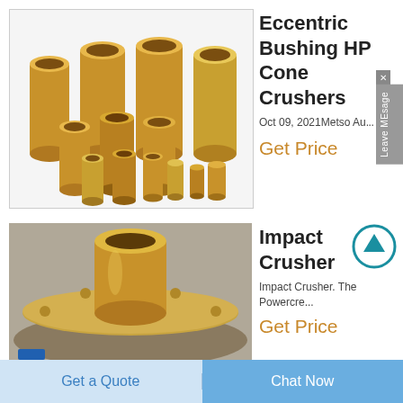[Figure (photo): Multiple brass/bronze cylindrical bushings of various sizes arranged together on white background]
Eccentric Bushing HP Cone Crushers
Oct 09, 2021Metso Au...
Get Price
[Figure (other): Circular up-arrow icon in blue teal outline]
[Figure (photo): Large bronze/brass round flange bushing viewed from above at an angle, on gray background]
Impact Crusher
Impact Crusher. The Powercre...
Get Price
Get a Quote
Chat Now